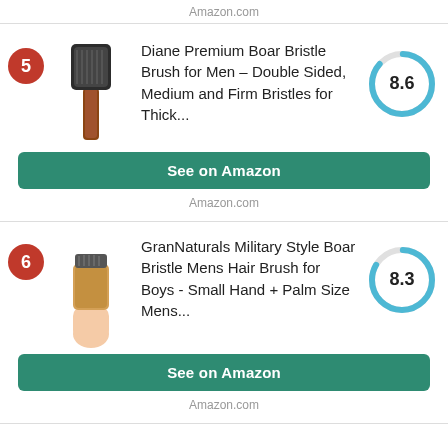Amazon.com
Diane Premium Boar Bristle Brush for Men – Double Sided, Medium and Firm Bristles for Thick...
[Figure (other): Score donut chart showing 8.6]
See on Amazon
Amazon.com
GranNaturals Military Style Boar Bristle Mens Hair Brush for Boys - Small Hand + Palm Size Mens...
[Figure (other): Score donut chart showing 8.3]
See on Amazon
Amazon.com